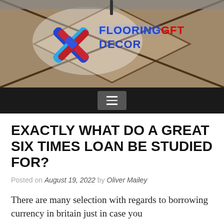[Figure (photo): Website header banner showing a decorative wood parquet floor pattern with a logo overlay. Logo shows a stylized X-shape in red, white, and blue, with text 'FLOORING GFT DECOR' in blue and red neon-style lettering.]
≡
EXACTLY WHAT DO A GREAT SIX TIMES LOAN BE STUDIED FOR?
Posted on August 19, 2022 by Oliver Mailey
There are many selection with regards to borrowing currency in britain just in case you